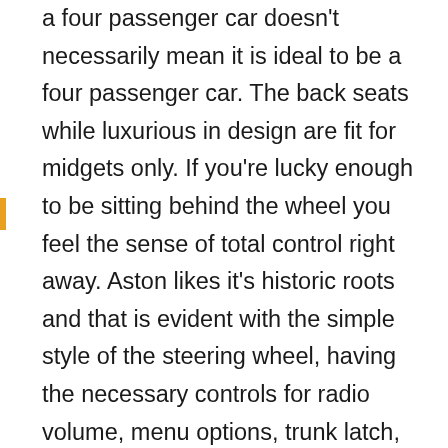a four passenger car doesn't necessarily mean it is ideal to be a four passenger car. The back seats while luxurious in design are fit for midgets only. If you're lucky enough to be sitting behind the wheel you feel the sense of total control right away. Aston likes it's historic roots and that is evident with the simple style of the steering wheel, having the necessary controls for radio volume, menu options, trunk latch, the 'S' sport mode, and paddle shifters all a fingers grasp away. The dash itself is not LCD like many others, keeping the gauges classic and mechanical, with gas gauge, speedometer, odometer, RPM, and oil pressure all visible to see. The center console is where the timeless crystal key goes, right in the center in between the P R N D gear buttons, a